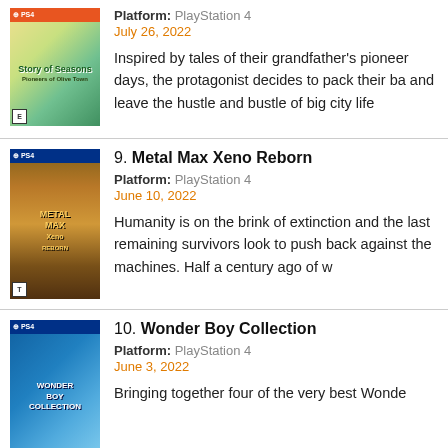[Figure (photo): Story of Seasons game cover for PlayStation 4, colorful farming game art]
Platform: PlayStation 4
July 26, 2022
Inspired by tales of their grandfather's pioneer days, the protagonist decides to pack their bags and leave the hustle and bustle of big city life
[Figure (photo): Metal Max Xeno Reborn game cover for PlayStation 4, post-apocalyptic tank game art]
9. Metal Max Xeno Reborn
Platform: PlayStation 4
June 10, 2022
Humanity is on the brink of extinction and the last remaining survivors look to push back against the machines. Half a century ago of w
[Figure (photo): Wonder Boy Collection game cover for PlayStation 4]
10. Wonder Boy Collection
Platform: PlayStation 4
June 3, 2022
Bringing together four of the very best Wonde